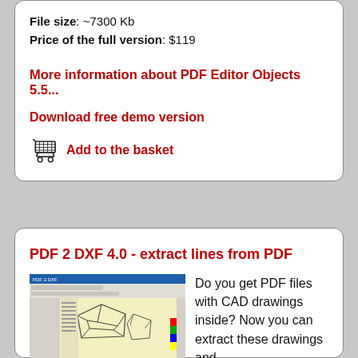File size: ~7300 Kb
Price of the full version: $119
More information about PDF Editor Objects 5.5...
Download free demo version
Add to the basket
PDF 2 DXF 4.0 - extract lines from PDF
[Figure (screenshot): Screenshot of PDF 2 DXF application showing a CAD drawing of a dodecahedron on a yellow background]
Do you get PDF files with CAD drawings inside? Now you can extract these drawings and